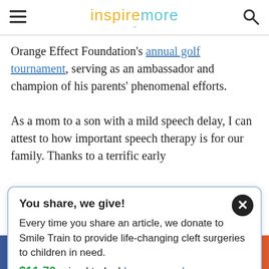inspiremore
Orange Effect Foundation's annual golf tournament, serving as an ambassador and champion of his parents' phenomenal efforts.

As a mom to a son with a mild speech delay, I can attest to how important speech therapy is for our family. Thanks to a terrific early
You share, we give!

Every time you share an article, we donate to Smile Train to provide life-changing cleft surgeries to children in need.
$11.70 raised today! Learn more here.
f  t  p  reddit  email  +